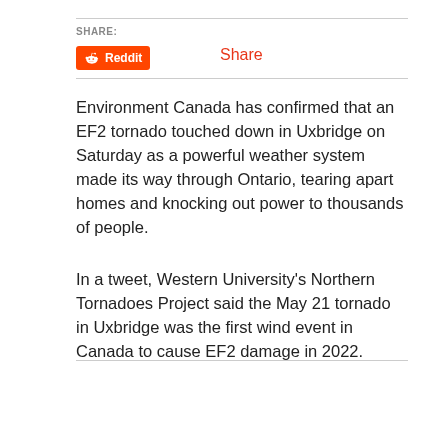SHARE:
[Figure (other): Reddit share button with Reddit alien icon and 'Reddit' text, followed by 'Share' link in orange]
Environment Canada has confirmed that an EF2 tornado touched down in Uxbridge on Saturday as a powerful weather system made its way through Ontario, tearing apart homes and knocking out power to thousands of people.
In a tweet, Western University's Northern Tornadoes Project said the May 21 tornado in Uxbridge was the first wind event in Canada to cause EF2 damage in 2022.